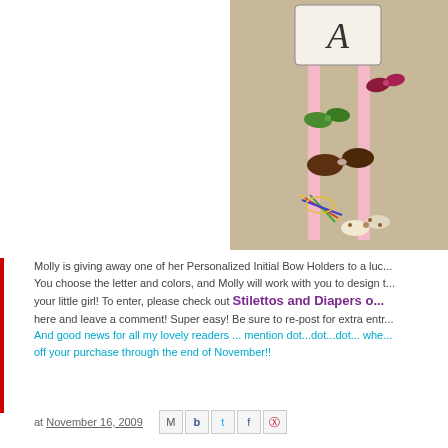[Figure (photo): A personalized initial bow holder with pink ribbons and various hair bows attached, hung against a tan/beige wall. A decorated letter 'A' is at the top.]
Molly is giving away one of her Personalized Initial Bow Holders to a lucky winner! You choose the letter and colors, and Molly will work with you to design the perfect one for your little girl! To enter, please check out Stilettos and Diapers o... here and leave a comment! Super easy! Be sure to re-post for extra entries. And good news for all my lovely readers ... mention dot...dot...dot... whe... off your purchase through the end of November!!
at November 16, 2009